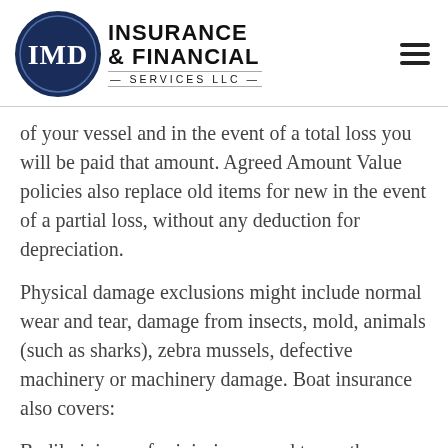[Figure (logo): IMD Insurance & Financial Services LLC logo with circular blue emblem on left and company name text on right]
of your vessel and in the event of a total loss you will be paid that amount. Agreed Amount Value policies also replace old items for new in the event of a partial loss, without any deduction for depreciation.
Physical damage exclusions might include normal wear and tear, damage from insects, mold, animals (such as sharks), zebra mussels, defective machinery or machinery damage. Boat insurance also covers:
Bodily injury—for injuries caused to another person